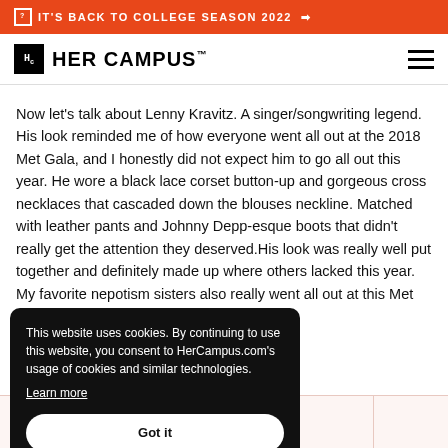IT'S BACK TO COLLEGE SEASON 2022 →
HER CAMPUS
Now let's talk about Lenny Kravitz. A singer/songwriting legend. His look reminded me of how everyone went all out at the 2018 Met Gala, and I honestly did not expect him to go all out this year. He wore a black lace corset button-up and gorgeous cross necklaces that cascaded down the blouses neckline. Matched with leather pants and Johnny Depp-esque boots that didn't really get the attention they deserved.His look was really well put together and definitely made up where others lacked this year. My favorite nepotism sisters also really went all out at this Met rom the theme, Gigi Hadid's t there was no way she cked a gorgeous matching a little too much for me. Bella, the theme while still being
This website uses cookies. By continuing to use this website, you consent to HerCampus.com's usage of cookies and similar technologies. Learn more
Got it